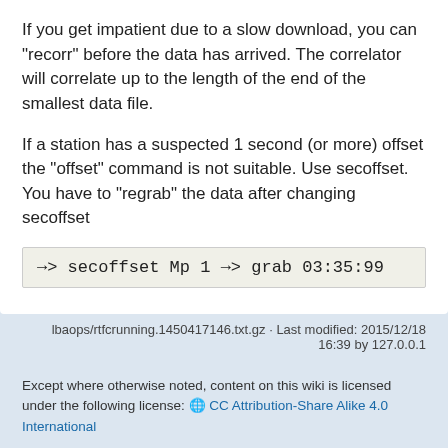If you get impatient due to a slow download, you can “recorr” before the data has arrived. The correlator will correlate up to the length of the end of the smallest data file.
If a station has a suspected 1 second (or more) offset the “offset” command is not suitable. Use secoffset. You have to “regrab” the data after changing secoffset
→> secoffset Mp 1 →> grab 03:35:99
lbaops/rtfcrunning.1450417146.txt.gz · Last modified: 2015/12/18 16:39 by 127.0.0.1
Except where otherwise noted, content on this wiki is licensed under the following license: 🌐 CC Attribution-Share Alike 4.0 International
[Figure (other): Row of badges: CC BY-SA, Donate, PHP Powered, WSC HTML5, WSC CSS, DokuWiki]